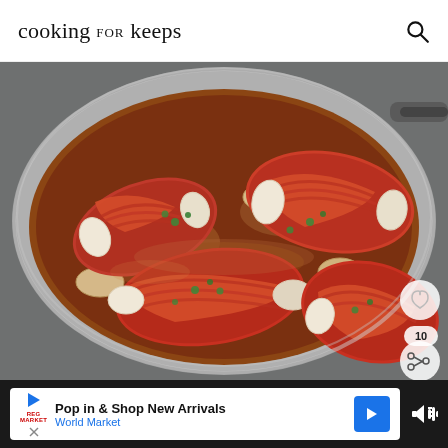cooking for keeps
[Figure (photo): Bacon-wrapped chicken breasts in a skillet with sliced potatoes and brown gravy sauce, garnished with fresh parsley. The dish is shown in a stainless steel pan from above.]
Pop in & Shop New Arrivals
World Market